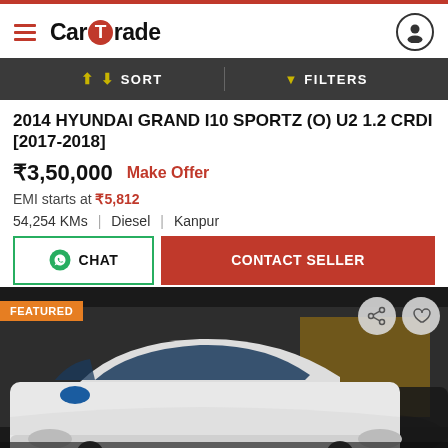CarTrade
SORT   FILTERS
2014 HYUNDAI GRAND I10 SPORTZ (O) U2 1.2 CRDI [2017-2018]
₹3,50,000   Make Offer
EMI starts at ₹5,812
54,254 KMs   |   Diesel   |   Kanpur
CHAT   CONTACT SELLER
[Figure (photo): White Hyundai Grand i10 car photo, front 3/4 view, with FEATURED badge in orange top-left, share and heart action buttons top-right]